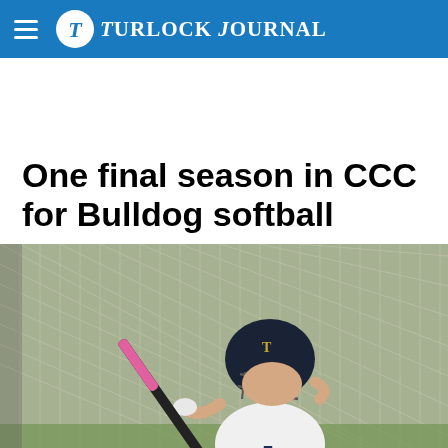Turlock Journal
One final season in CCC for Bulldog softball
[Figure (photo): A softball player wearing a white uniform and dark batting helmet with a pink and black bat raised, standing at the plate in front of a chain-link fence. The player wears number 7 and batting gloves.]